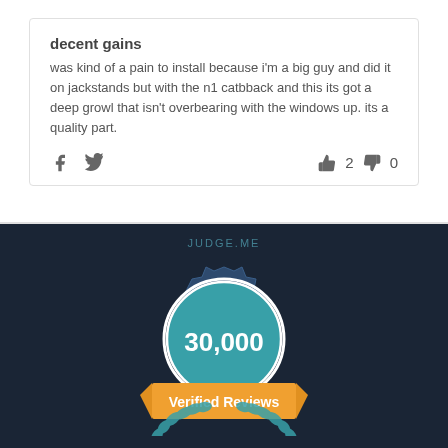decent gains
was kind of a pain to install because i'm a big guy and did it on jackstands but with the n1 catbback and this its got a deep growl that isn't overbearing with the windows up. its a quality part.
[Figure (logo): Judge.me 30,000 Verified Reviews badge — dark navy background, teal gear/seal badge with laurel wreath, orange ribbon banner reading 'Verified Reviews', '30,000' in white text]